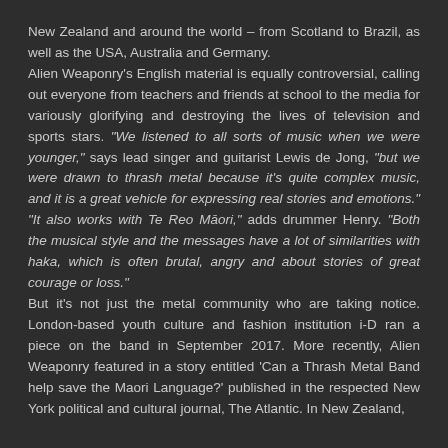New Zealand and around the world – from Scotland to Brazil, as well as the USA, Australia and Germany.
Alien Weaponry's English material is equally controversial, calling out everyone from teachers and friends at school to the media for variously glorifying and destroying the lives of television and sports stars. "We listened to all sorts of music when we were younger," says lead singer and guitarist Lewis de Jong, "but we were drawn to thrash metal because it's quite complex music, and it is a great vehicle for expressing real stories and emotions." "It also works with Te Reo Māori," adds drummer Henry. "Both the musical style and the messages have a lot of similarities with haka, which is often brutal, angry and about stories of great courage or loss."
But it's not just the metal community who are taking notice. London-based youth culture and fashion institution i-D ran a piece on the band in September 2017. More recently, Alien Weaponry featured in a story entitled 'Can a Thrash Metal Band help save the Maori Language?' published in the respected New York political and cultural journal, The Atlantic. In New Zealand,